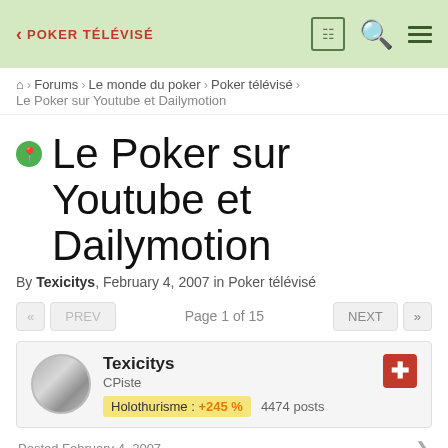POKER TÉLÉVISÉ
⌂ > Forums > Le monde du poker > Poker télévisé > Le Poker sur Youtube et Dailymotion
Le Poker sur Youtube et Dailymotion
By Texicitys, February 4, 2007 in Poker télévisé
Page 1 of 15
Texicitys
CPiste
Holothurisme : +245 %  4474 posts
Posted February 4, 2007